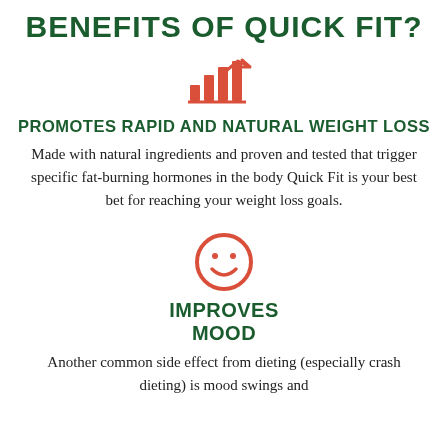BENEFITS OF QUICK FIT?
[Figure (illustration): Red bar chart icon (growth/analytics symbol)]
PROMOTES RAPID AND NATURAL WEIGHT LOSS
Made with natural ingredients and proven and tested that trigger specific fat-burning hormones in the body Quick Fit is your best bet for reaching your weight loss goals.
[Figure (illustration): Red smiley face circle icon]
IMPROVES MOOD
Another common side effect from dieting (especially crash dieting) is mood swings and